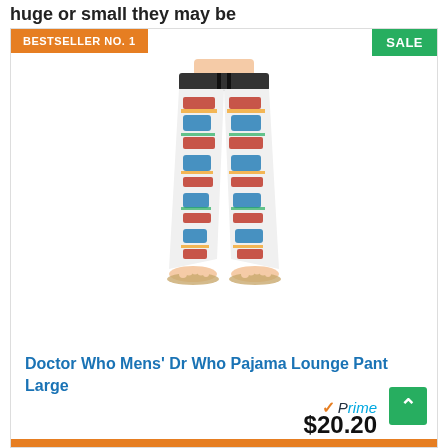huge or small they may be
[Figure (photo): Product photo of Doctor Who Mens' Dr Who Pajama Lounge Pant Large — colorful patterned lounge pants with TARDIS/Doctor Who print in red, blue, and multicolor, shown on a person from waist down with bare feet]
Doctor Who Mens' Dr Who Pajama Lounge Pant Large
$20.20
BESTSELLER NO. 1
SALE